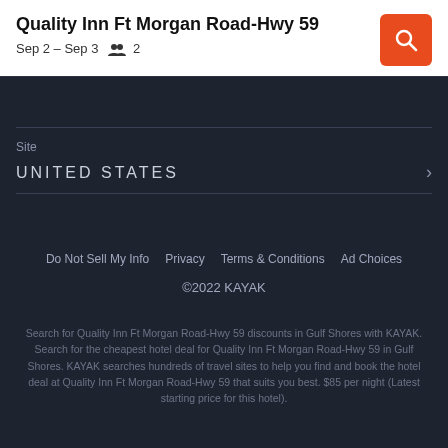Quality Inn Ft Morgan Road-Hwy 59
Sep 2 – Sep 3    2
Site
UNITED STATES
Do Not Sell My Info    Privacy    Terms & Conditions    Ad Choices
©2022 KAYAK
Search for Quality Inn Ft Morgan Road-Hwy 59 discounts in Gulf Shores with KAYAK. Search for the cheapest hotel deal for Quality Inn Ft Morgan Road-Hwy 59 in Gulf Shores. KAYAK searches hundreds of travel sites to help you find and book the hotel deal at Quality Inn Ft Morgan Road-Hwy 59 that suits you best. $85 per night (Latest starting price for this hotel).